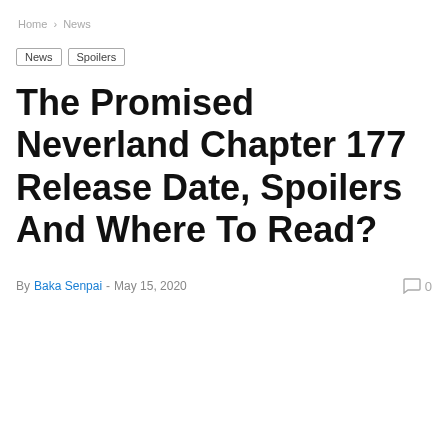Home > News
News
Spoilers
The Promised Neverland Chapter 177 Release Date, Spoilers And Where To Read?
By Baka Senpai - May 15, 2020  0